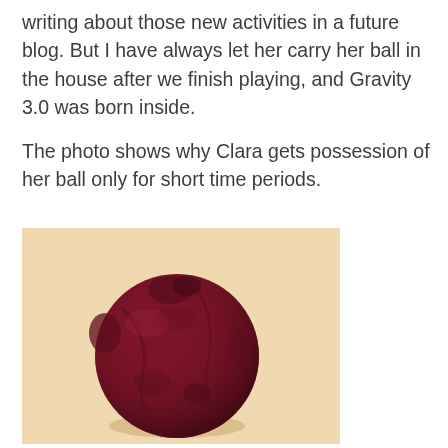writing about those new activities in a future blog. But I have always let her carry her ball in the house after we finish playing, and Gravity 3.0 was born inside.

The photo shows why Clara gets possession of her ball only for short time periods.
[Figure (photo): A chewed and worn dark red/maroon tennis ball sitting on a light beige/peach surface, with a shadow beneath it. The ball is heavily damaged and deformed from chewing.]